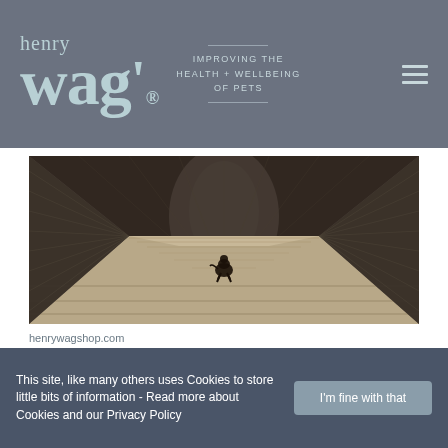henry wag® — IMPROVING THE HEALTH + WELLBEING OF PETS
[Figure (photo): A dog running toward the camera along a narrow wooden bridge or walkway, flanked by curved mesh wire fencing walls on both sides, creating a tunnel-like perspective. The scene is lit from the far end.]
henrywagshop.com
Henry Wag for Pets and Equine
This site, like many others uses Cookies to store little bits of information - Read more about Cookies and our Privacy Policy